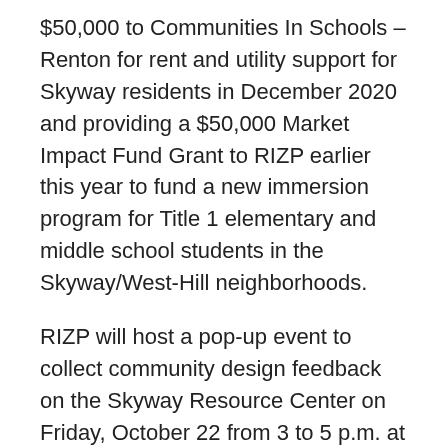$50,000 to Communities In Schools – Renton for rent and utility support for Skyway residents in December 2020 and providing a $50,000 Market Impact Fund Grant to RIZP earlier this year to fund a new immersion program for Title 1 elementary and middle school students in the Skyway/West-Hill neighborhoods.
RIZP will host a pop-up event to collect community design feedback on the Skyway Resource Center on Friday, October 22 from 3 to 5 p.m. at King County Fire District 20, 12424 76th Ave S. in Seattle. To participate, visit the community design kickoff survey.
To learn more about the Skyway Resource